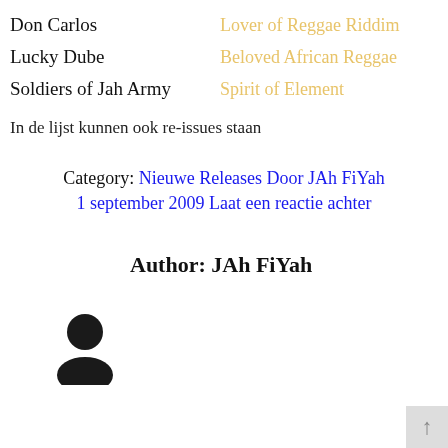Don Carlos   Lover of Reggae Riddim
Lucky Dube   Beloved African Reggae
Soldiers of Jah Army   Spirit of Element
In de lijst kunnen ook re-issues staan
Category: Nieuwe Releases   Door JAh FiYah
1 september 2009   Laat een reactie achter
Author: JAh FiYah
[Figure (illustration): Generic user avatar silhouette icon]